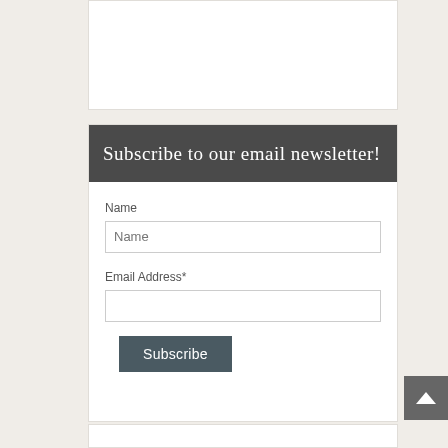Subscribe to our email newsletter!
Name
Email Address*
Subscribe